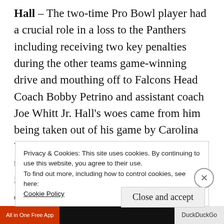Hall – The two-time Pro Bowl player had a crucial role in a loss to the Panthers including receiving two key penalties during the other teams game-winning drive and mouthing off to Falcons Head Coach Bobby Petrino and assistant coach Joe Whitt Jr. Hall's woes came from him being taken out of his game by Carolina WR Steve Smith, who got under his skin to the point he lost the game for his entire 53-man team. Petrino promised disciplinary action against Hall, but to...
Privacy & Cookies: This site uses cookies. By continuing to use this website, you agree to their use.
To find out more, including how to control cookies, see here: Cookie Policy
Close and accept
All in One Free App | DuckDuckGo